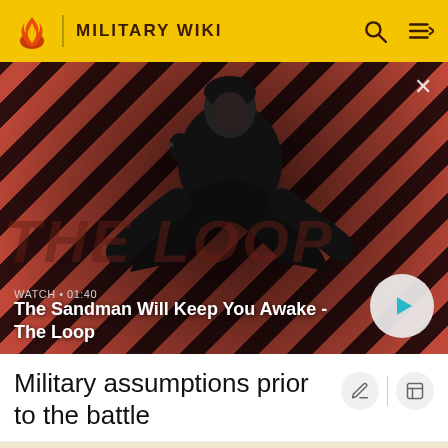MILITARY WIKI
[Figure (screenshot): Video thumbnail for 'The Sandman Will Keep You Awake - The Loop' showing a dark-clad figure with a raven against a diagonal red and dark striped background. Watch duration 01:40 shown with play button.]
WATCH • 01:40
The Sandman Will Keep You Awake - The Loop
Military assumptions prior to the battle
[Figure (photo): Partial image of a terrain or landscape feature with brown/golden tones, cropped at bottom of page.]